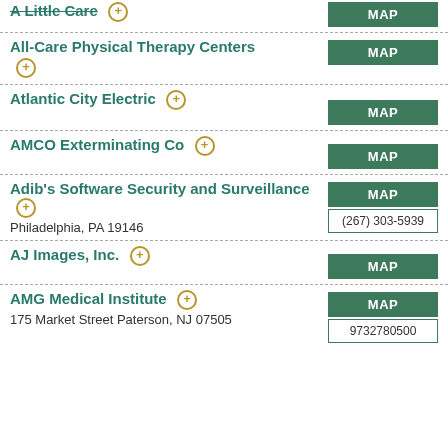A Little Care
All-Care Physical Therapy Centers
Atlantic City Electric
AMCO Exterminating Co
Adib's Software Security and Surveillance
Philadelphia, PA 19146
(267) 303-5939
AJ Images, Inc.
AMG Medical Institute
175 Market Street Paterson, NJ 07505
9732780500